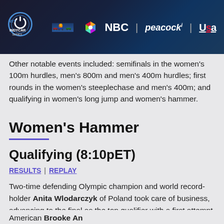[Figure (other): NTT IndyCar Series advertisement banner with NBC, Peacock, and USA Network logos, featuring racing cars image]
Other notable events included: semifinals in the women's 100m hurdles, men's 800m and men's 400m hurdles; first rounds in the women's steeplechase and men's 400m; and qualifying in women's long jump and women's hammer.
Women's Hammer
Qualifying (8:10pET)
RESULTS | REPLAY
Two-time defending Olympic champion and world record-holder Anita Wlodarczyk of Poland took care of business, advancing to the final as the top qualifier with a first attempt of 76.99m.